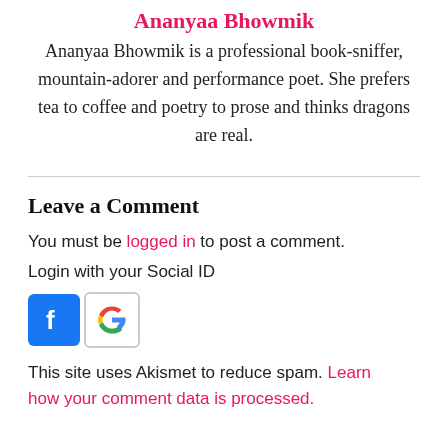Ananyaa Bhowmik
Ananyaa Bhowmik is a professional book-sniffer, mountain-adorer and performance poet. She prefers tea to coffee and poetry to prose and thinks dragons are real.
Leave a Comment
You must be logged in to post a comment.
Login with your Social ID
[Figure (logo): Facebook and Google social login icons]
This site uses Akismet to reduce spam. Learn how your comment data is processed.